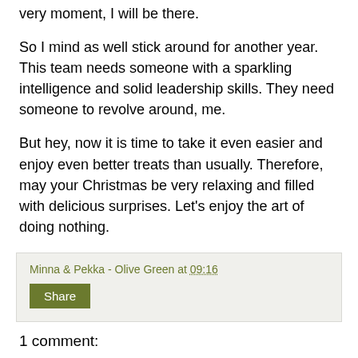very moment, I will be there.
So I mind as well stick around for another year. This team needs someone with a sparkling intelligence and solid leadership skills. They need someone to revolve around, me.
But hey, now it is time to take it even easier and enjoy even better treats than usually. Therefore, may your Christmas be very relaxing and filled with delicious surprises. Let's enjoy the art of doing nothing.
Merry Christmas and Happy New Year!
Cheers,
Urho
Minna & Pekka - Olive Green at 09:16
Share
1 comment: